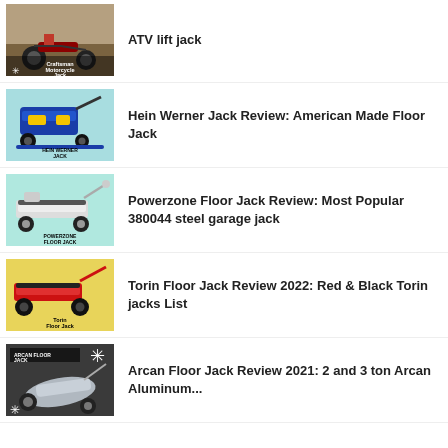ATV lift jack
Hein Werner Jack Review: American Made Floor Jack
Powerzone Floor Jack Review: Most Popular 380044 steel garage jack
Torin Floor Jack Review 2022: Red & Black Torin jacks List
Arcan Floor Jack Review 2021: 2 and 3 ton Arcan Aluminum...